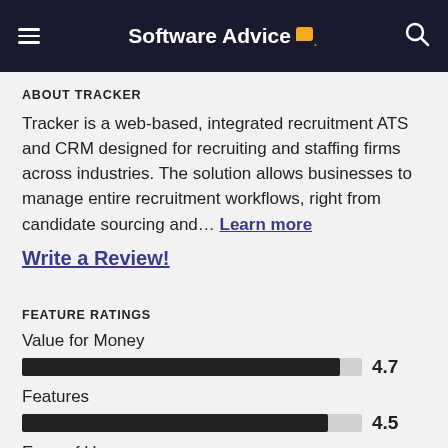Software Advice
ABOUT TRACKER
Tracker is a web-based, integrated recruitment ATS and CRM designed for recruiting and staffing firms across industries. The solution allows businesses to manage entire recruitment workflows, right from candidate sourcing and… Learn more
Write a Review!
FEATURE RATINGS
Value for Money
[Figure (bar-chart): Value for Money]
Features
[Figure (bar-chart): Features]
Ease of Use